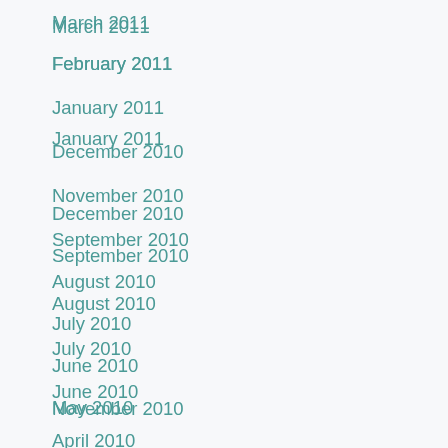March 2011
February 2011
January 2011
December 2010
November 2010
September 2010
August 2010
July 2010
June 2010
May 2010
April 2010
March 2010